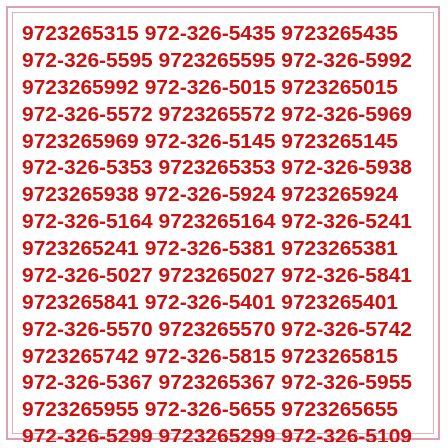9723265315 972-326-5435 9723265435 972-326-5595 9723265595 972-326-5992 9723265992 972-326-5015 9723265015 972-326-5572 9723265572 972-326-5969 9723265969 972-326-5145 9723265145 972-326-5353 9723265353 972-326-5938 9723265938 972-326-5924 9723265924 972-326-5164 9723265164 972-326-5241 9723265241 972-326-5381 9723265381 972-326-5027 9723265027 972-326-5841 9723265841 972-326-5401 9723265401 972-326-5570 9723265570 972-326-5742 9723265742 972-326-5815 9723265815 972-326-5367 9723265367 972-326-5955 9723265955 972-326-5655 9723265655 972-326-5299 9723265299 972-326-5109 9723265109 972-326-5067 9723265067 972-326-5323 9723265323 972-326-5898 9723265898 972-326-5750 9723265750 972-326-5100 9723265100 972-326-5609 9723265609 972-326-5262 9723265262 972-326-5970 9723265970 972-326-5119 9723265119 972-326-5434 9723265434 972-